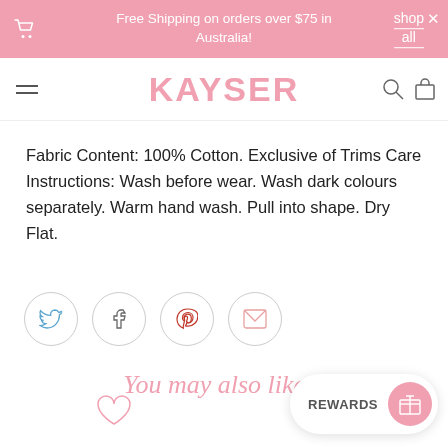Free Shipping on orders over $75 in Australia! shop all
KAYSER
Fabric Content: 100% Cotton. Exclusive of Trims Care Instructions: Wash before wear. Wash dark colours separately. Warm hand wash. Pull into shape. Dry Flat.
[Figure (illustration): Social sharing icons row: Twitter, Facebook, Pinterest, Email — each in a circle]
You may also like...
[Figure (illustration): Heart/wishlist icon and REWARDS button with gift icon]